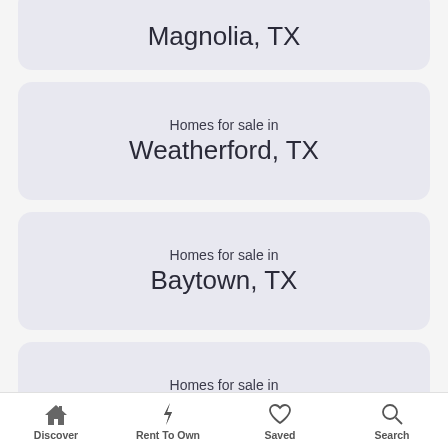Homes for sale in Magnolia, TX
Homes for sale in Weatherford, TX
Homes for sale in Baytown, TX
Homes for sale in Kyle, TX
Homes for sale in Abilene, TX
Discover | Rent To Own | Saved | Search